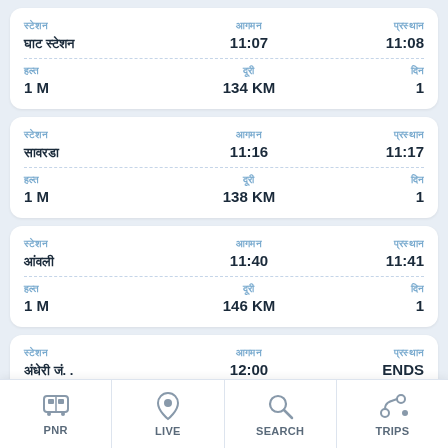| स्टेशन | समय | प्रस्थान |
| --- | --- | --- |
| □□□□□ □□□ | 11:07 | 11:08 |
| 1 M | 134 KM | 1 |
| स्टेशन | समय | प्रस्थान |
| --- | --- | --- |
| □□□□□□□ | 11:16 | 11:17 |
| 1 M | 138 KM | 1 |
| स्टेशन | समय | प्रस्थान |
| --- | --- | --- |
| □□□□□ | 11:40 | 11:41 |
| 1 M | 146 KM | 1 |
| स्टेशन | समय | प्रस्थान |
| --- | --- | --- |
| □□□□□□□ □□. | 12:00 | ENDS |
| - | 153 KM | 1 |
PNR  LIVE  SEARCH  TRIPS